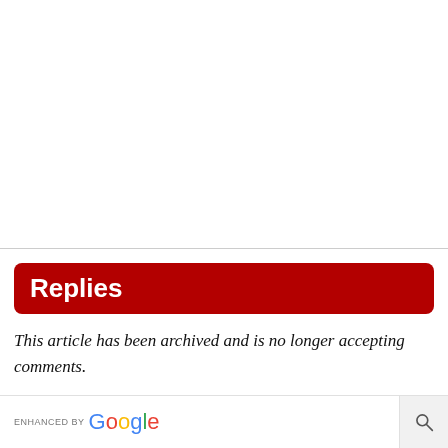Replies
This article has been archived and is no longer accepting comments.